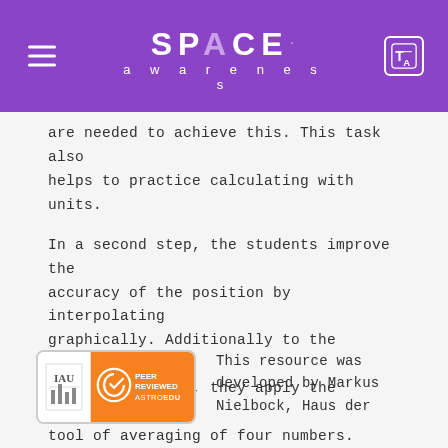SPACE awareness
are needed to achieve this. This task also helps to practice calculating with units.
In a second step, the students improve the accuracy of the position by interpolating graphically. Additionally to the previously mentioned skills, they apply the statistical tool of averaging of four numbers. Finally, the students will understand how the principle of a GPS receiver works and how the uncertainties introduced by an incorrect receiver clock can be minimised leading to an improvement in deriving a position.
[Figure (logo): IAU Peer Reviewed AstroEdu badge]
This resource was developed by Markus Nielbock, Haus der